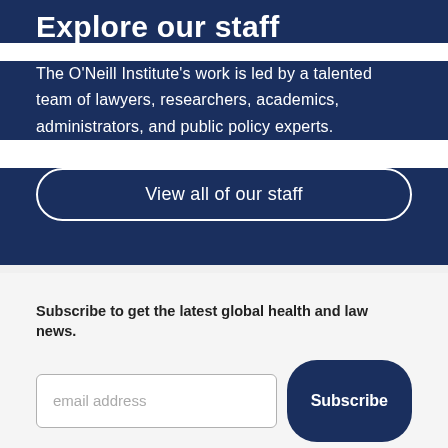Explore our staff
The O'Neill Institute's work is led by a talented team of lawyers, researchers, academics, administrators, and public policy experts.
View all of our staff
Subscribe to get the latest global health and law news.
email address
Subscribe
O'Neill Institute for National and Global Health Law
Georgetown University Law Center